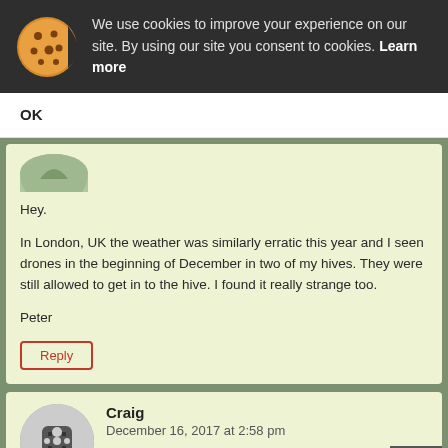We use cookies to improve your experience on our site. By using our site you consent to cookies. Learn more
OK
Hey.

In London, UK the weather was similarly erratic this year and I seen drones in the beginning of December in two of my hives. They were still allowed to get in to the hive. I found it really strange too.

Peter
Reply
Craig
December 16, 2017 at 2:58 pm